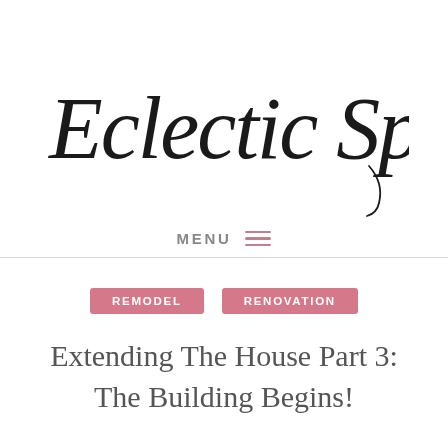[Figure (logo): Eclectic Spark cursive script logo in black]
MENU ≡
REMODEL   RENOVATION
Extending The House Part 3: The Building Begins!